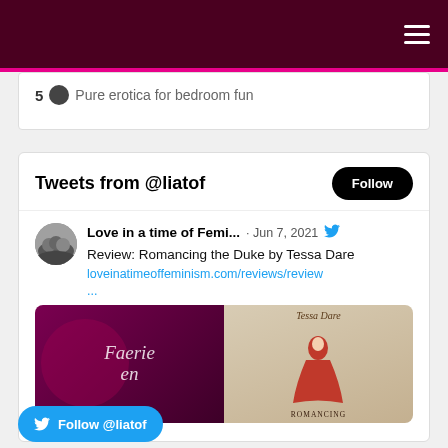5 ● Pure erotica for bedroom fun
[Figure (screenshot): Twitter/X embedded widget showing 'Tweets from @liatof' with a Follow button and a tweet by 'Love in a time of Femi...' dated Jun 7, 2021 that reads: 'Review: Romancing the Duke by Tessa Dare loveinatimeoffeminism.com/reviews/review...' with a book cover image showing Faerie Queen and a Tessa Dare Romancing book cover.]
Follow @liatof